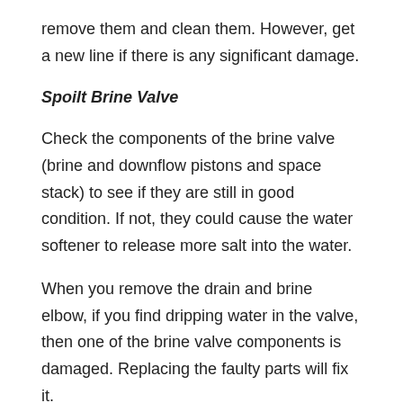remove them and clean them. However, get a new line if there is any significant damage.
Spoilt Brine Valve
Check the components of the brine valve (brine and downflow pistons and space stack) to see if they are still in good condition. If not, they could cause the water softener to release more salt into the water.
When you remove the drain and brine elbow, if you find dripping water in the valve, then one of the brine valve components is damaged. Replacing the faulty parts will fix it.
Wrong Programming